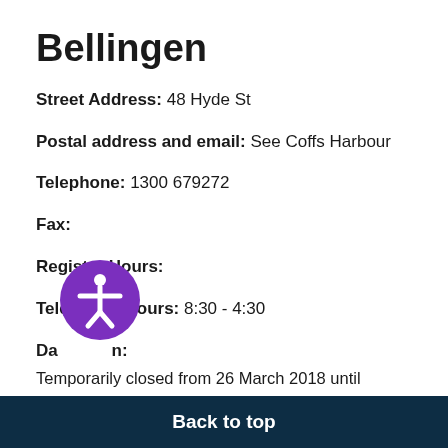Bellingen
Street Address: 48 Hyde St
Postal address and email: See Coffs Harbour
Telephone: 1300 679272
Fax:
Registry Hours:
Telephone Hours: 8:30 - 4:30
Days open:
Temporarily closed from 26 March 2018 until further notice.  For Enquiries please  contact Coffs Harbour Local Court
Back to top